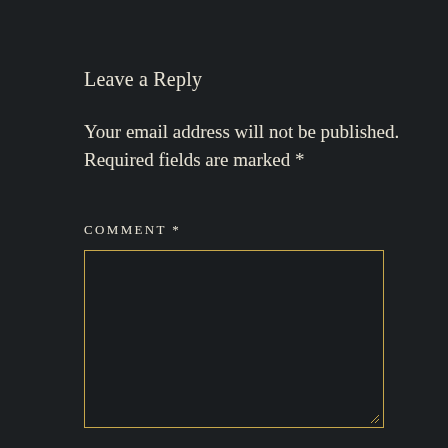Leave a Reply
Your email address will not be published. Required fields are marked *
COMMENT *
[Figure (other): Empty comment text area input box with golden/yellow border on dark background, with a resize handle indicator in the bottom-right corner]